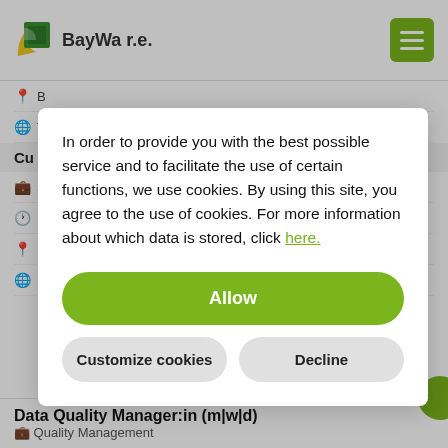[Figure (logo): BayWa r.e. company logo with green and yellow leaf icon and text 'BayWa r.e.']
In order to provide you with the best possible service and to facilitate the use of certain functions, we use cookies. By using this site, you agree to the use of cookies. For more information about which data is stored, click here.
Allow
Customize cookies
Decline
Data Quality Manager:in (m|w|d)
Quality Management